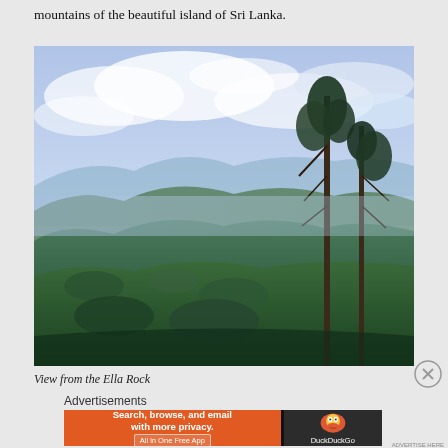mountains of the beautiful island of Sri Lanka.
[Figure (photo): Panoramic view of mountain valleys and lush green hills with tall trees in the foreground and a cloudy sky above, taken from Ella Rock, Sri Lanka.]
View from the Ella Rock
Advertisements
[Figure (screenshot): DuckDuckGo advertisement banner: orange left panel with text 'Search, browse, and email with more privacy. All in One Free App' and dark right panel with DuckDuckGo duck logo and 'DuckDuckGo' text.]